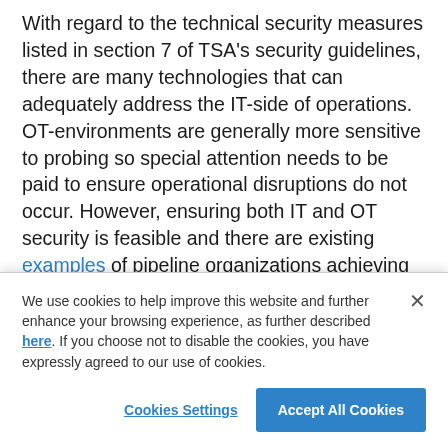With regard to the technical security measures listed in section 7 of TSA's security guidelines, there are many technologies that can adequately address the IT-side of operations. OT-environments are generally more sensitive to probing so special attention needs to be paid to ensure operational disruptions do not occur. However, ensuring both IT and OT security is feasible and there are existing examples of pipeline organizations achieving heightened levels of security in IT-OT converged environments. While the TSA Directive does leave room for potential changes to its requirements, pipeline owners/operators may find
We use cookies to help improve this website and further enhance your browsing experience, as further described here. If you choose not to disable the cookies, you have expressly agreed to our use of cookies.